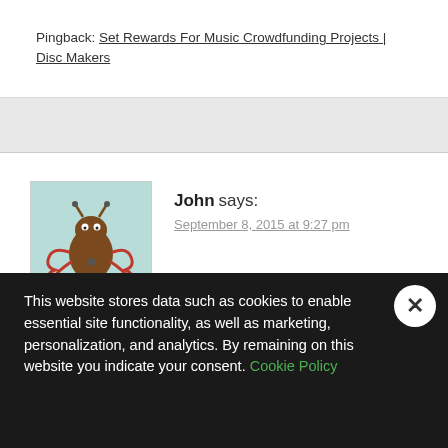Pingback: Set Rewards For Music Crowdfunding Projects | Disc Makers
John says: September 8, 2015 at 9:27 pm
[Figure (illustration): Avatar image of a cartoon alien/monster character on a light teal background]
Thank you this gave me an organizational outline. I believe it will be helpful.
This website stores data such as cookies to enable essential site functionality, as well as marketing, personalization, and analytics. By remaining on this website you indicate your consent. Cookie Policy